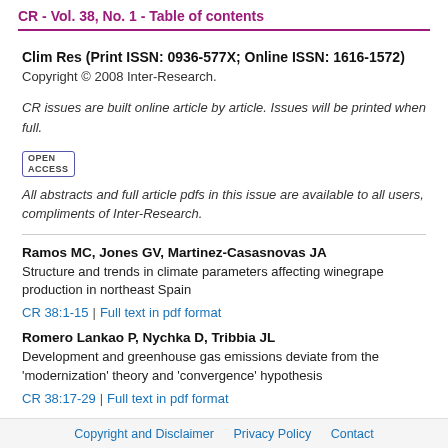CR - Vol. 38, No. 1 - Table of contents
Clim Res (Print ISSN: 0936-577X; Online ISSN: 1616-1572)
Copyright © 2008 Inter-Research.
CR issues are built online article by article. Issues will be printed when full.
[Figure (logo): Open Access badge logo]
All abstracts and full article pdfs in this issue are available to all users, compliments of Inter-Research.
Ramos MC, Jones GV, Martinez-Casasnovas JA
Structure and trends in climate parameters affecting winegrape production in northeast Spain
CR 38:1-15 |   Full text in pdf format
Romero Lankao P, Nychka D, Tribbia JL
Development and greenhouse gas emissions deviate from the 'modernization' theory and 'convergence' hypothesis
CR 38:17-29 |   Full text in pdf format
Copyright and Disclaimer   Privacy Policy   Contact